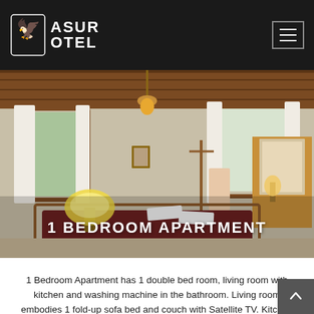ASUR OTEL
[Figure (photo): Hotel room interior showing a bedroom with wooden ceiling, bed with dark maroon cover, lamp with yellow shade, windows with curtains, coat rack, and a dresser with mirror. Text overlay reads '1 BEDROOM APARTMENT'.]
1 Bedroom Apartment has 1 double bed room, living room with kitchen and washing machine in the bathroom. Living room embodies 1 fold-up sofa bed and couch with Satellite TV. Kitchen contains all necessary cutlery (porcelain plates, bowls, glasses) …
Read More